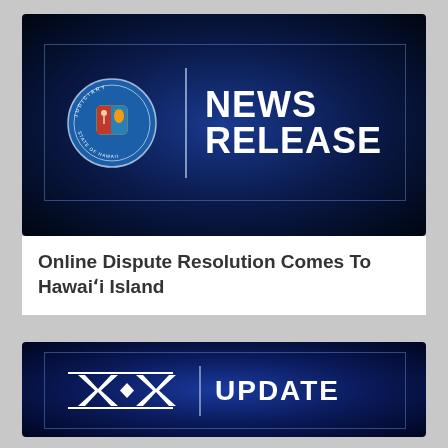[Figure (logo): Hawaii Judiciary News Release banner with state seal and 'NEWS RELEASE' text on dark blue background]
Online Dispute Resolution Comes To Hawaiʻi Island
[Figure (logo): Hawaii Judiciary Update banner with decorative XX logo and 'UPDATE' text on dark blue background]